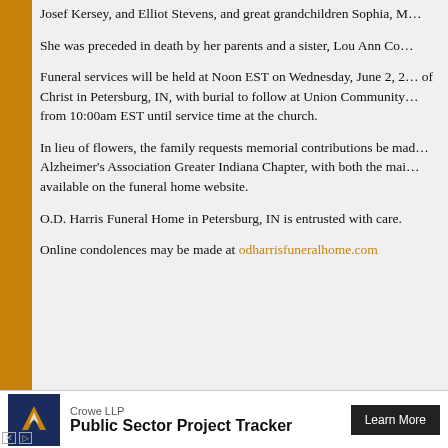Josef Kersey, and Elliot Stevens, and great grandchildren Sophia, M…
She was preceded in death by her parents and a sister, Lou Ann Co…
Funeral services will be held at Noon EST on Wednesday, June 2, 2… of Christ in Petersburg, IN, with burial to follow at Union Community… from 10:00am EST until service time at the church.
In lieu of flowers, the family requests memorial contributions be mad… Alzheimer's Association Greater Indiana Chapter, with both the mai… available on the funeral home website.
O.D. Harris Funeral Home in Petersburg, IN is entrusted with care.
Online condolences may be made at odharrisfuneralhome.com
See More:
« Obituaries — May 2021
Obituaries — July 2021 »
[Figure (other): Crowe LLP advertisement banner with logo, 'Public Sector Project Tracker' text, and Learn More button]